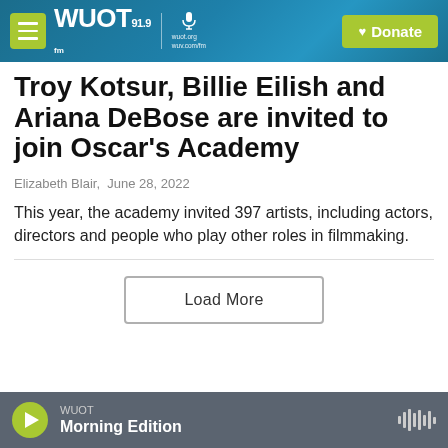WUOT 91.9 FM | wuot.org | Donate
Troy Kotsur, Billie Eilish and Ariana DeBose are invited to join Oscar's Academy
Elizabeth Blair,  June 28, 2022
This year, the academy invited 397 artists, including actors, directors and people who play other roles in filmmaking.
[Figure (other): Load More button]
WUOT Morning Edition